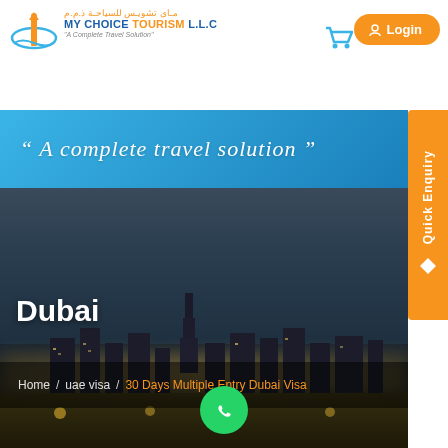[Figure (logo): My Choice Tourism LLC logo with Arabic text, blue and orange colors, and tagline 'A Complete Travel Solution']
[Figure (other): Shopping cart icon in blue]
[Figure (other): Orange Login button with person icon]
[Figure (other): Orange vertical Quick Enquiry sidebar tab with diamond icon]
[Figure (other): Blue banner with cursive text: ' A complete travel solution ']
[Figure (photo): Dubai city skyline at dusk/night with city lights, dark sky gradient]
Dubai
Home / uae visa / 30 Days Multiple Entry Dubai Visa
[Figure (other): WhatsApp green circle button]